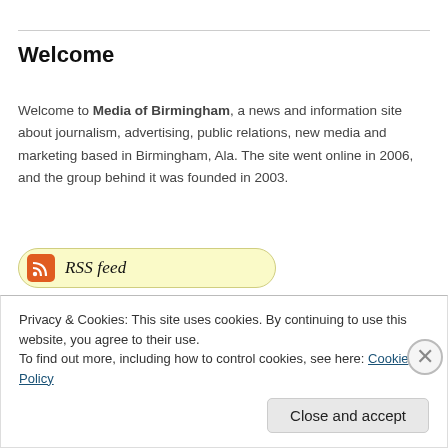Welcome
Welcome to Media of Birmingham, a news and information site about journalism, advertising, public relations, new media and marketing based in Birmingham, Ala. The site went online in 2006, and the group behind it was founded in 2003.
[Figure (other): RSS feed pill button with orange RSS icon and italic text 'RSS feed']
[Figure (other): Job board pill button with italic text 'Job board' and a black 'HELP WANTED' badge]
[Figure (other): Email pill button with italic text 'mailbox@mediaofbirmingham.com']
Privacy & Cookies: This site uses cookies. By continuing to use this website, you agree to their use. To find out more, including how to control cookies, see here: Cookie Policy